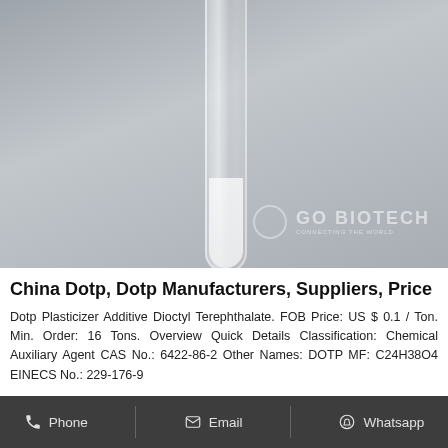[Figure (photo): A glass test tube or vial against a gray background, with the Go Biotech watermark logo in the bottom right corner.]
China Dotp, Dotp Manufacturers, Suppliers, Price
Dotp Plasticizer Additive Dioctyl Terephthalate. FOB Price: US $ 0.1 / Ton. Min. Order: 16 Tons. Overview Quick Details Classification: Chemical Auxiliary Agent CAS No.: 6422-86-2 Other Names: DOTP MF: C24H38O4 EINECS No.: 229-176-9
Phone   Email   Whatsapp